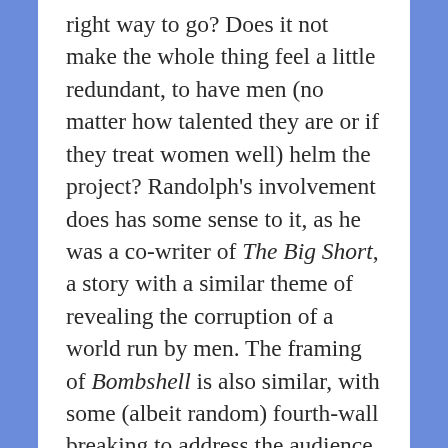right way to go? Does it not make the whole thing feel a little redundant, to have men (no matter how talented they are or if they treat women well) helm the project? Randolph's involvement does has some sense to it, as he was a co-writer of The Big Short, a story with a similar theme of revealing the corruption of a world run by men. The framing of Bombshell is also similar, with some (albeit random) fourth-wall breaking to address the audience, which is a nice touch to involve us, but it quickly gets left behind. Could the screenplay really not have had more female involvement? Or some involvement from Kelly herself (Carlson unfortunately signed an NDA in reality)? Also, it's important to quickly note that this kind of stuff doesn't just happen to blonde women. It could have been nice to have made Pospisil, a fictional